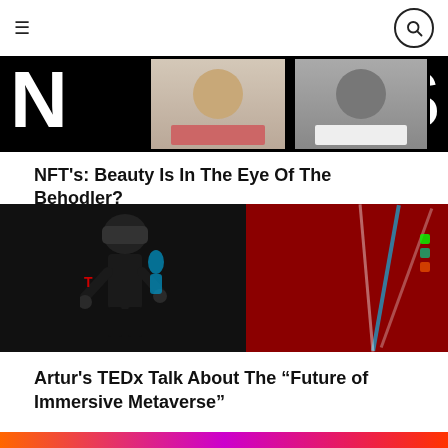☰  [search icon]
[Figure (screenshot): NFT banner image with large letters N and S on black background, two people visible in video call windows in the center]
NFT's: Beauty Is In The Eye Of The Behodler?
[Figure (photo): Person wearing VR headset on a TEDx stage with red background and colorful stage lighting]
Artur's TEDx Talk About The “Future of Immersive Metaverse”
[Figure (photo): Partially visible image with pink/orange/purple colors at the bottom of the page]